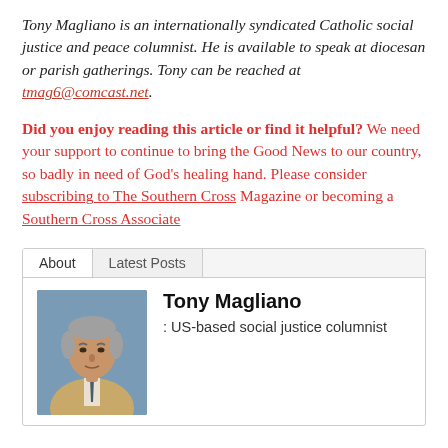Tony Magliano is an internationally syndicated Catholic social justice and peace columnist. He is available to speak at diocesan or parish gatherings. Tony can be reached at tmag6@comcast.net.
Did you enjoy reading this article or find it helpful? We need your support to continue to bring the Good News to our country, so badly in need of God’s healing hand. Please consider subscribing to The Southern Cross Magazine or becoming a Southern Cross Associate
About | Latest Posts
[Figure (photo): Headshot photo of Tony Magliano, an older man with grey hair wearing a beige jacket and dark tie, against a blue background]
Tony Magliano : US-based social justice columnist